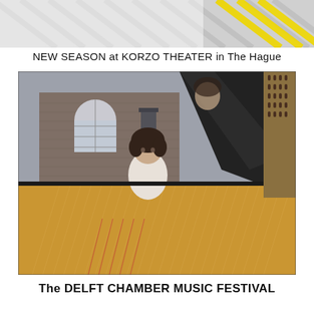[Figure (photo): Top banner showing a partial abstract image with yellow diagonal stripes and a light grey striped background — appears to be an abstract or architectural detail shot.]
NEW SEASON at KORZO THEATER in The Hague
[Figure (photo): A pianist — a young woman with dark curly hair wearing a white sleeveless top — sitting at an open grand piano viewed from the front/inside. The interior mechanisms and strings of the piano are visible in the foreground, lit in warm golden tones. In the background is an outdoor or courtyard setting with a brick building, arched window, and audio speakers. The reflection of the pianist is visible in the piano lid above.]
The DELFT CHAMBER MUSIC FESTIVAL